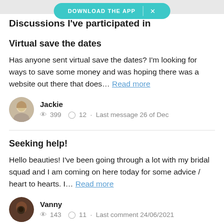Discussions I've participated in
Virtual save the dates
Has anyone sent virtual save the dates? I'm looking for ways to save some money and was hoping there was a website out there that does… Read more
Jackie · 399 views · 12 comments · Last message 26 of Dec
Seeking help!
Hello beauties! I've been going through a lot with my bridal squad and I am coming on here today for some advice / heart to hearts. I… Read more
Vanny · 143 views · 11 comments · Last comment 24/06/2021